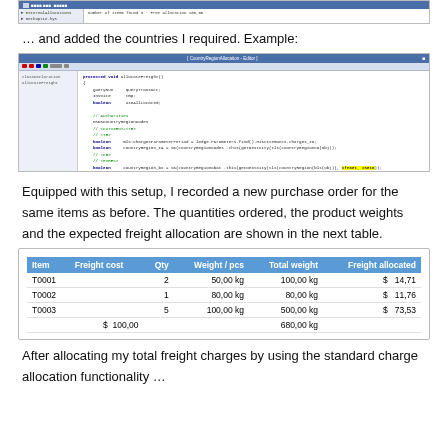[Figure (screenshot): Top partial screenshot of a code editor window, partially cropped at top of page]
… and added the countries I required. Example:
[Figure (screenshot): Screenshot of a code editor (CountryRegionAllocation - Editor) showing X++ or similar code with highlighted yellow line for country region parameter]
Equipped with this setup, I recorded a new purchase order for the same items as before. The quantities ordered, the product weights and the expected freight allocation are shown in the next table.
| Item | Freight cost | Qty | Weight / pcs | Total weight | Freight allocated |
| --- | --- | --- | --- | --- | --- |
| T0001 |  | 2 | 50,00 kg | 100,00 kg | $ 14,71 |
| T0002 |  | 1 | 80,00 kg | 80,00 kg | $ 11,76 |
| T0003 |  | 5 | 100,00 kg | 500,00 kg | $ 73,53 |
|  | $ 100,00 |  |  | 680,00 kg |  |
After allocating my total freight charges by using the standard charge allocation functionality …